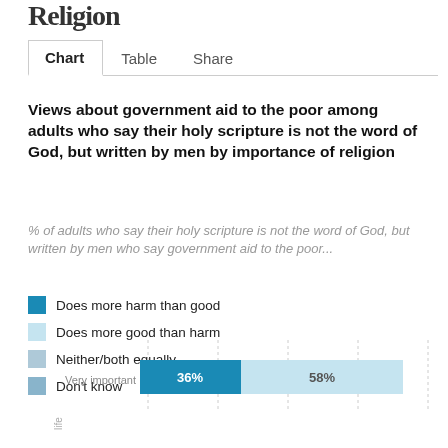Religion
Views about government aid to the poor among adults who say their holy scripture is not the word of God, but written by men by importance of religion
% of adults who say their holy scripture is not the word of God, but written by men who say government aid to the poor...
Does more harm than good
Does more good than harm
Neither/both equally
Don't know
[Figure (stacked-bar-chart): Views about government aid to the poor]